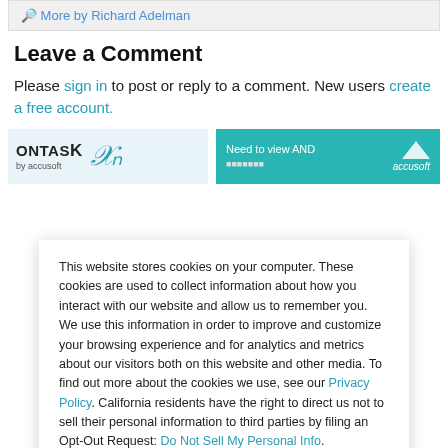More by Richard Adelman
Leave a Comment
Please sign in to post or reply to a comment. New users create a free account.
[Figure (screenshot): Two advertisement banners: left shows ONTASK logo with a script 'h' letter on light blue background; right shows 'Need to view AND...' text with Accusoft logo on teal background.]
This website stores cookies on your computer. These cookies are used to collect information about how you interact with our website and allow us to remember you. We use this information in order to improve and customize your browsing experience and for analytics and metrics about our visitors both on this website and other media. To find out more about the cookies we use, see our Privacy Policy. California residents have the right to direct us not to sell their personal information to third parties by filing an Opt-Out Request: Do Not Sell My Personal Info.
Accept